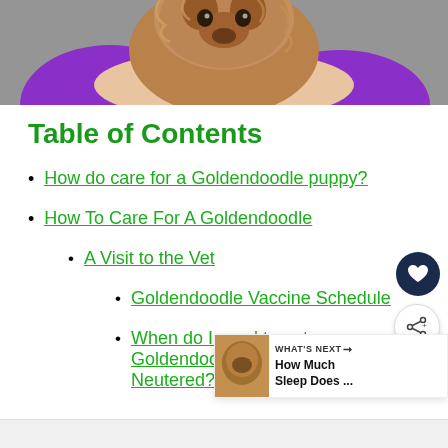[Figure (photo): Person in purple shirt holding a golden/brown curly-haired Goldendoodle puppy, wearing a green bracelet, against a brick wall background]
Table of Contents
How do care for a Goldendoodle puppy?
How To Care For A Goldendoodle
A Visit to the Vet
Goldendoodle Vaccine Schedule
When do I need to get my Goldendoodle Spayed or Neutered?